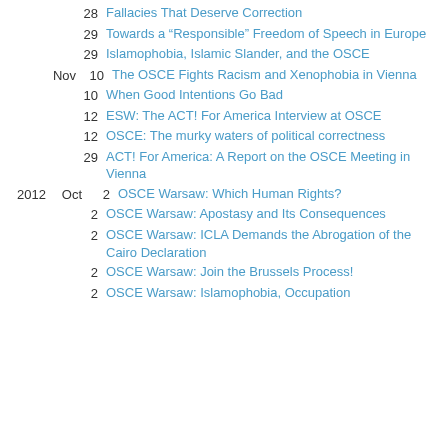28 Fallacies That Deserve Correction
29 Towards a “Responsible” Freedom of Speech in Europe
29 Islamophobia, Islamic Slander, and the OSCE
Nov 10 The OSCE Fights Racism and Xenophobia in Vienna
10 When Good Intentions Go Bad
12 ESW: The ACT! For America Interview at OSCE
12 OSCE: The murky waters of political correctness
29 ACT! For America: A Report on the OSCE Meeting in Vienna
2012 Oct 2 OSCE Warsaw: Which Human Rights?
2 OSCE Warsaw: Apostasy and Its Consequences
2 OSCE Warsaw: ICLA Demands the Abrogation of the Cairo Declaration
2 OSCE Warsaw: Join the Brussels Process!
2 OSCE Warsaw: Islamophobia, Occupation and Slander